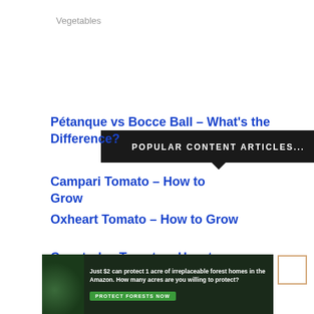Vegetables
POPULAR CONTENT ARTICLES...
Pétanque vs Bocce Ball – What's the Difference?
Campari Tomato – How to Grow
Oxheart Tomato – How to Grow
Cuostralee Tomato – How to Grow
[Figure (photo): Advertisement banner: forest/Amazon scene with text 'Just $2 can protect 1 acre of irreplaceable forest homes in the Amazon. How many acres are you willing to protect?' with a 'PROTECT FORESTS NOW' button]